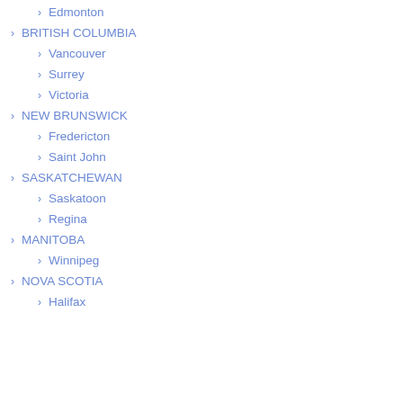Edmonton
BRITISH COLUMBIA
Vancouver
Surrey
Victoria
NEW BRUNSWICK
Fredericton
Saint John
SASKATCHEWAN
Saskatoon
Regina
MANITOBA
Winnipeg
NOVA SCOTIA
Halifax